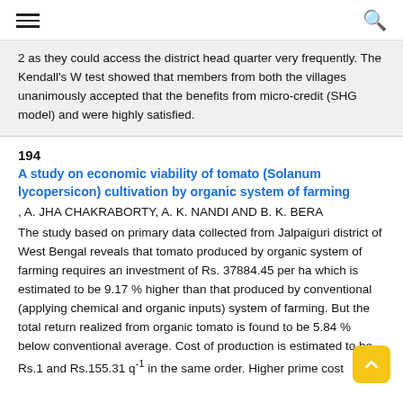[hamburger menu] [search icon]
2 as they could access the district head quarter very frequently. The Kendall's W test showed that members from both the villages unanimously accepted that the benefits from micro-credit (SHG model) and were highly satisfied.
194
A study on economic viability of tomato (Solanum lycopersicon) cultivation by organic system of farming
, A. JHA CHAKRABORTY, A. K. NANDI AND B. K. BERA
The study based on primary data collected from Jalpaiguri district of West Bengal reveals that tomato produced by organic system of farming requires an investment of Rs. 37884.45 per ha which is estimated to be 9.17 % higher than that produced by conventional (applying chemical and organic inputs) system of farming. But the total return realized from organic tomato is found to be 5.84 % below conventional average. Cost of production is estimated to be Rs.1 and Rs.155.31 q-1 in the same order. Higher prime cost